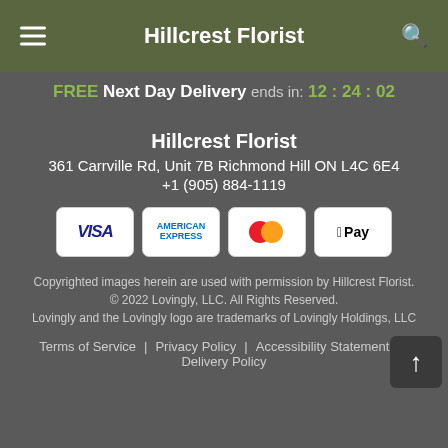Hillcrest Florist
FREE Next Day Delivery ends in: 12:24:02
Hillcrest Florist
361 Carrville Rd, Unit 7B Richmond Hill ON L4C 6E4
+1 (905) 884-1119
[Figure (logo): Payment method icons: VISA, American Express, Mastercard, Apple Pay]
Copyrighted images herein are used with permission by Hillcrest Florist.
© 2022 Lovingly, LLC. All Rights Reserved.
Lovingly and the Lovingly logo are trademarks of Lovingly Holdings, LLC
Terms of Service | Privacy Policy | Accessibility Statement | Delivery Policy